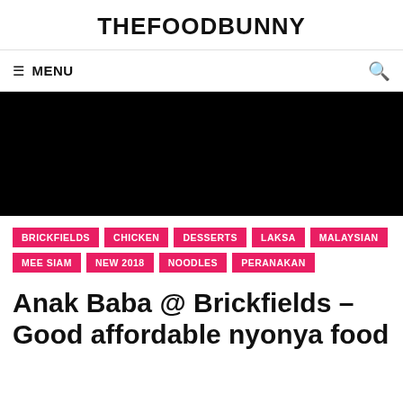THEFOODBUNNY
≡ MENU
[Figure (photo): Black hero image placeholder]
BRICKFIELDS
CHICKEN
DESSERTS
LAKSA
MALAYSIAN
MEE SIAM
NEW 2018
NOODLES
PERANAKAN
Anak Baba @ Brickfields – Good affordable nyonya food